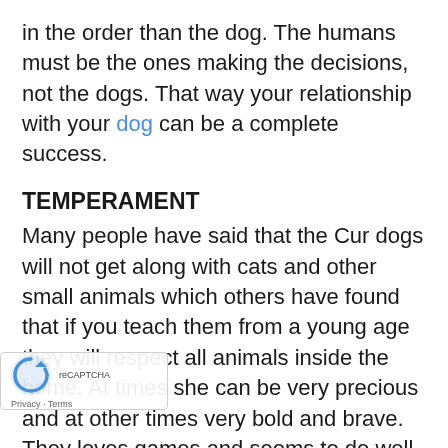in the order than the dog. The humans must be the ones making the decisions, not the dogs. That way your relationship with your dog can be a complete success.
TEMPERAMENT
Many people have said that the Cur dogs will not get along with cats and other small animals which others have found that if you teach them from a young age they will respect all animals inside the home. At times she can be very precious and at other times very bold and brave. They loves games and seems to do well in a suburban setting with lots of exercise. They love walks and love to play fetch. They are shy around strangers, not aggressive but very submissive.